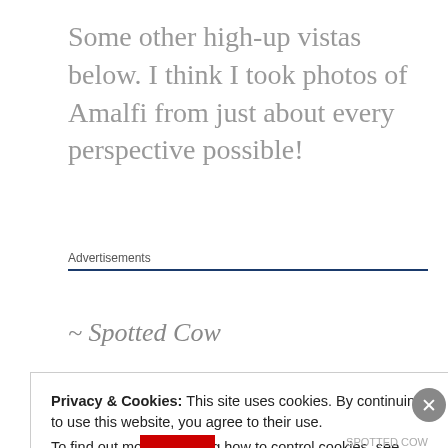Some other high-up vistas below. I think I took photos of Amalfi from just about every perspective possible!
Advertisements
~ Spotted Cow
Privacy & Cookies: This site uses cookies. By continuing to use this website, you agree to their use.
To find out more, including how to control cookies, see here: Cookie Policy
Close and accept